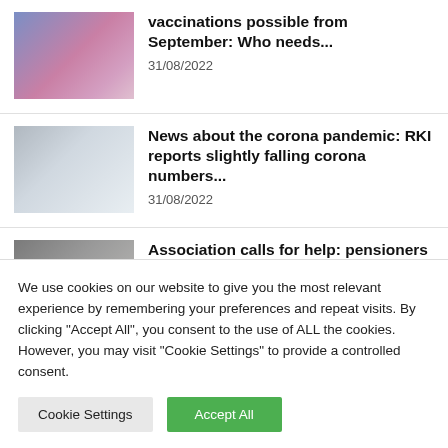[Figure (photo): Photo of a vaccine vial being injected, purple/pink tones]
vaccinations possible from September: Who needs...
31/08/2022
[Figure (photo): Photo of a white FFP2 mask held by a person wearing dark clothing]
News about the corona pandemic: RKI reports slightly falling corona numbers...
31/08/2022
[Figure (photo): Photo of elderly people from behind, outdoor scene]
Association calls for help: pensioners despair: “With every
We use cookies on our website to give you the most relevant experience by remembering your preferences and repeat visits. By clicking “Accept All”, you consent to the use of ALL the cookies. However, you may visit "Cookie Settings" to provide a controlled consent.
Cookie Settings
Accept All